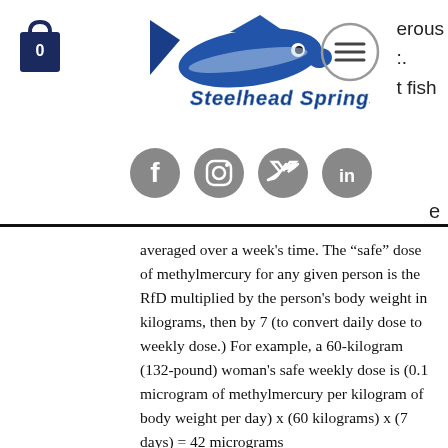[Figure (logo): Shopping bag icon with number 0]
[Figure (logo): Steelhead Springs logo with fish graphic and blue stylized text]
[Figure (logo): Hamburger menu icon in circle]
erous
:.
t fish
[Figure (logo): Social media icons: Facebook, Instagram, Twitter, LinkedIn]
e
averaged over a week’s time. The “safe” dose of methylmercury for any given person is the RfD multiplied by the person’s body weight in kilograms, then by 7 (to convert daily dose to weekly dose.) For example, a 60-kilogram (132-pound) woman’s safe weekly dose is (0.1 microgram of methylmercury per kilogram of body weight per day) x (60 kilograms) x (7 days) = 42 micrograms